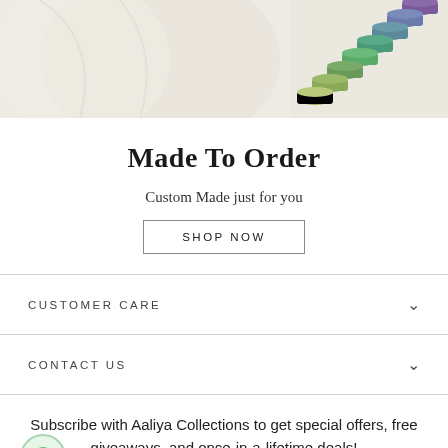[Figure (photo): Photo of fabric/cloth in cream/white color with a rack of colorful thread spools on the right side, showing greens, teals, and purples.]
Made To Order
Custom Made just for you
SHOP NOW
CUSTOMER CARE
CONTACT US
Subscribe with Aaliya Collections to get special offers, free giveaways, and once-in-a-lifetime deals!